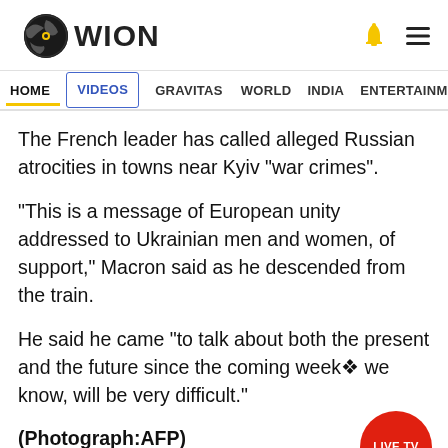WION
HOME  VIDEOS  GRAVITAS  WORLD  INDIA  ENTERTAINMENT  SPORTS
The French leader has called alleged Russian atrocities in towns near Kyiv "war crimes".
"This is a message of European unity addressed to Ukrainian men and women, of support," Macron said as he descended from the train.
He said he came "to talk about both the present and the future since the coming weeks we know, will be very difficult."
(Photograph:AFP)